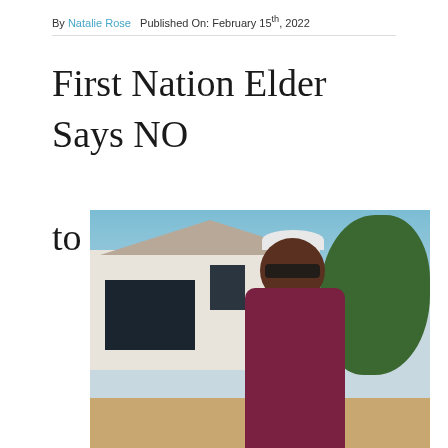By Natalie Rose   Published On: February 15th, 2022
First Nation Elder Says NO to the Jab
[Figure (photo): An elderly man wearing sunglasses and a dark red/maroon shirt standing in front of a house with a large window and a tree, under a blue sky.]